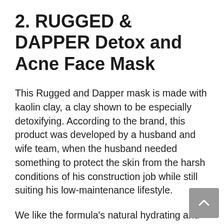2. RUGGED & DAPPER Detox and Acne Face Mask
This Rugged and Dapper mask is made with kaolin clay, a clay shown to be especially detoxifying. According to the brand, this product was developed by a husband and wife team, when the husband needed something to protect the skin from the harsh conditions of his construction job while still suiting his low-maintenance lifestyle.
We like the formula's natural hydrating and antioxidant ingredients like aloe vera, spirulina, and sea kelp, in addition to the cleansing power of kaolin clay. We also like